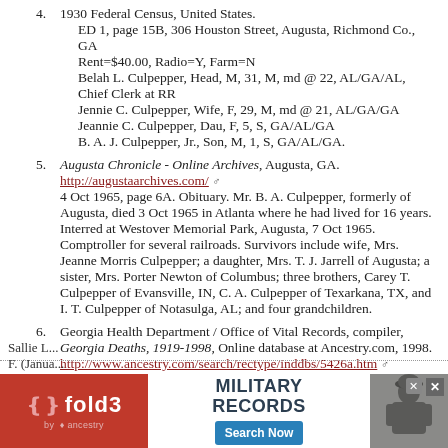4. 1930 Federal Census, United States. ED 1, page 15B, 306 Houston Street, Augusta, Richmond Co., GA Rent=$40.00, Radio=Y, Farm=N Belah L. Culpepper, Head, M, 31, M, md @ 22, AL/GA/AL, Chief Clerk at RR Jennie C. Culpepper, Wife, F, 29, M, md @ 21, AL/GA/GA Jeannie C. Culpepper, Dau, F, 5, S, GA/AL/GA B. A. J. Culpepper, Jr., Son, M, 1, S, GA/AL/GA.
5. Augusta Chronicle - Online Archives, Augusta, GA. http://augustaarchives.com/ 4 Oct 1965, page 6A. Obituary. Mr. B. A. Culpepper, formerly of Augusta, died 3 Oct 1965 in Atlanta where he had lived for 16 years. Interred at Westover Memorial Park, Augusta, 7 Oct 1965. Comptroller for several railroads. Survivors include wife, Mrs. Jeanne Morris Culpepper; a daughter, Mrs. T. J. Jarrell of Augusta; a sister, Mrs. Porter Newton of Columbus; three brothers, Carey T. Culpepper of Evansville, IN, C. A. Culpepper of Texarkana, TX, and I. T. Culpepper of Notasulga, AL; and four grandchildren.
6. Georgia Health Department / Office of Vital Records, compiler, Georgia Deaths, 1919-1998, Online database at Ancestry.com, 1998. http://www.ancestry.com/search/rectype/inddbs/5426a.htm Belah A. Culpepper, d. 3 Oct 1965 at 66 years in Fulton Co., GA; Res. in Fulton Co., GA.
[Figure (photo): Advertisement banner for Fold3 Military Records by Ancestry with a soldier photo and Search Now button]